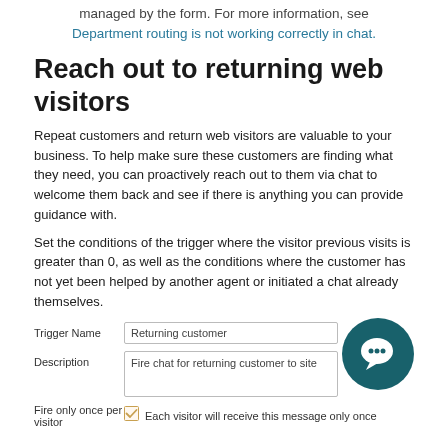managed by the form. For more information, see Department routing is not working correctly in chat.
Reach out to returning web visitors
Repeat customers and return web visitors are valuable to your business. To help make sure these customers are finding what they need, you can proactively reach out to them via chat to welcome them back and see if there is anything you can provide guidance with.
Set the conditions of the trigger where the visitor previous visits is greater than 0, as well as the conditions where the customer has not yet been helped by another agent or initiated a chat already themselves.
[Figure (screenshot): Form fields for trigger configuration: Trigger Name field with 'Returning customer', Description field with 'Fire chat for returning customer to site', and Fire only once per visitor checkbox with label 'Each visitor will receive this message only once'. A teal chat icon is in the bottom right.]
Trigger Name
Returning customer
Description
Fire chat for returning customer to site
Fire only once per visitor
Each visitor will receive this message only once